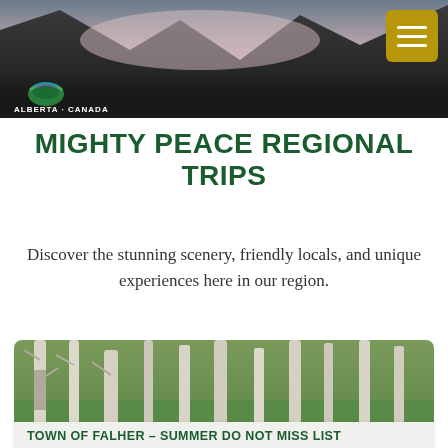[Figure (photo): Header photo of mountain landscape with pink/purple sky and dark mountain silhouettes, with an Alberta Canada logo in the lower left]
MIGHTY PEACE REGIONAL TRIPS
Discover the stunning scenery, friendly locals, and unique experiences here in our region.
[Figure (photo): Photo of people in white hats (beekeepers) standing among white birch trees in a green landscape]
TOWN OF FALHER – SUMMER DO NOT MISS LIST